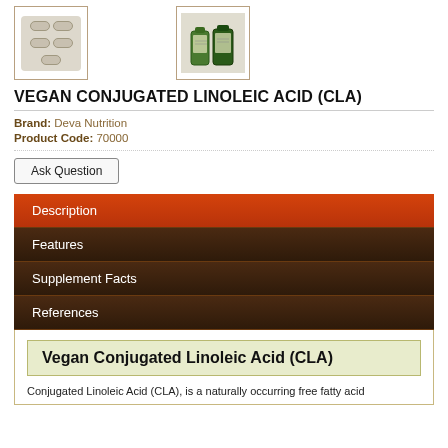[Figure (photo): Thumbnail image of supplement capsules/pills on white background]
[Figure (photo): Thumbnail image of Deva Nutrition Vegan CLA product bottles]
VEGAN CONJUGATED LINOLEIC ACID (CLA)
Brand: Deva Nutrition
Product Code: 70000
Ask Question
Description
Features
Supplement Facts
References
Vegan Conjugated Linoleic Acid (CLA)
Conjugated Linoleic Acid (CLA), is a naturally occurring free fatty acid